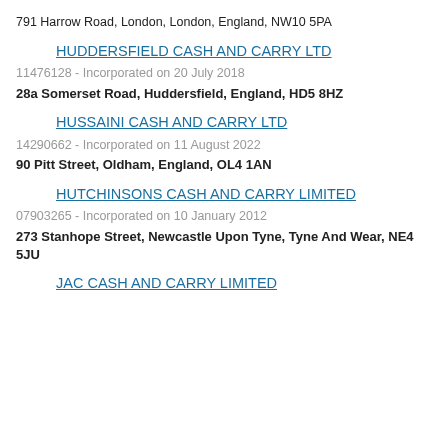791 Harrow Road, London, London, England, NW10 5PA
HUDDERSFIELD CASH AND CARRY LTD
11476128 - Incorporated on 20 July 2018
28a Somerset Road, Huddersfield, England, HD5 8HZ
HUSSAINI CASH AND CARRY LTD
14290662 - Incorporated on 11 August 2022
90 Pitt Street, Oldham, England, OL4 1AN
HUTCHINSONS CASH AND CARRY LIMITED
07903265 - Incorporated on 10 January 2012
273 Stanhope Street, Newcastle Upon Tyne, Tyne And Wear, NE4 5JU
JAC CASH AND CARRY LIMITED